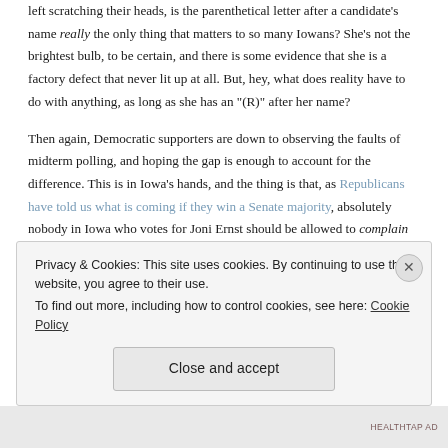left scratching their heads, is the parenthetical letter after a candidate's name really the only thing that matters to so many Iowans? She's not the brightest bulb, to be certain, and there is some evidence that she is a factory defect that never lit up at all. But, hey, what does reality have to do with anything, as long as she has an "(R)" after her name?
Then again, Democratic supporters are down to observing the faults of midterm polling, and hoping the gap is enough to account for the difference. This is in Iowa's hands, and the thing is that, as Republicans have told us what is coming if they win a Senate majority, absolutely nobody in Iowa who votes for Joni Ernst should be allowed to complain about gridlock and inefficient government. That is to say, they should not complain when they get what they voted for.
[partial text below cookie banner]
Privacy & Cookies: This site uses cookies. By continuing to use this website, you agree to their use.
To find out more, including how to control cookies, see here: Cookie Policy
Close and accept